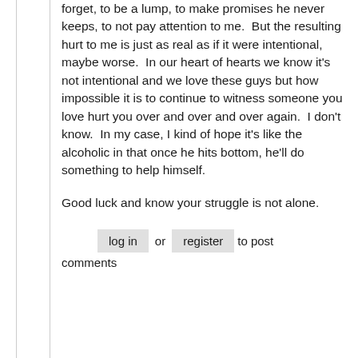forget, to be a lump, to make promises he never keeps, to not pay attention to me.  But the resulting hurt to me is just as real as if it were intentional, maybe worse.  In our heart of hearts we know it's not intentional and we love these guys but how impossible it is to continue to witness someone you love hurt you over and over and over again.  I don't know.  In my case, I kind of hope it's like the alcoholic in that once he hits bottom, he'll do something to help himself.
Good luck and know your struggle is not alone.
log in or register to post comments